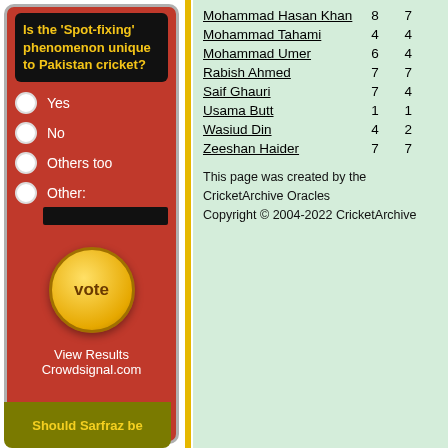Is the 'Spot-fixing' phenomenon unique to Pakistan cricket?
Yes
No
Others too
Other:
vote
View Results
Crowdsignal.com
| Mohammad Hasan Khan | 8 | 7 |
| Mohammad Tahami | 4 | 4 |
| Mohammad Umer | 6 | 4 |
| Rabish Ahmed | 7 | 7 |
| Saif Ghauri | 7 | 4 |
| Usama Butt | 1 | 1 |
| Wasiud Din | 4 | 2 |
| Zeeshan Haider | 7 | 7 |
This page was created by the CricketArchive Oracles
Copyright © 2004-2022 CricketArchive
Should Sarfraz be